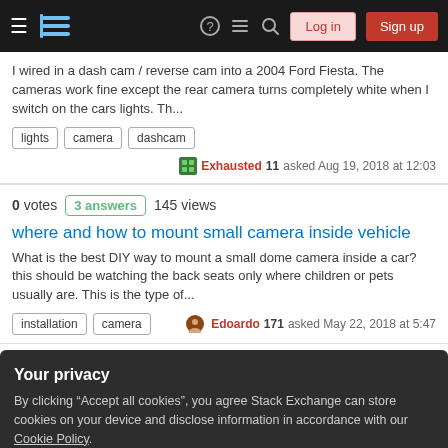Stack Exchange navigation bar with Log in and Sign up buttons
I wired in a dash cam / reverse cam into a 2004 Ford Fiesta. The cameras work fine except the rear camera turns completely white when I switch on the cars lights. Th...
lights
camera
dashcam
Exhausted 11 asked Aug 19, 2018 at 12:03
0 votes  3 answers  145 views
where and how to mount small camera inside vehicle
What is the best DIY way to mount a small dome camera inside a car? this should be watching the back seats only where children or pets usually are. This is the type of...
installation
camera
Edoardo 171 asked May 22, 2018 at 5:47
Your privacy
By clicking "Accept all cookies", you agree Stack Exchange can store cookies on your device and disclose information in accordance with our Cookie Policy.
Accept all cookies
Customize settings
nissan
car
camera
backup-camera